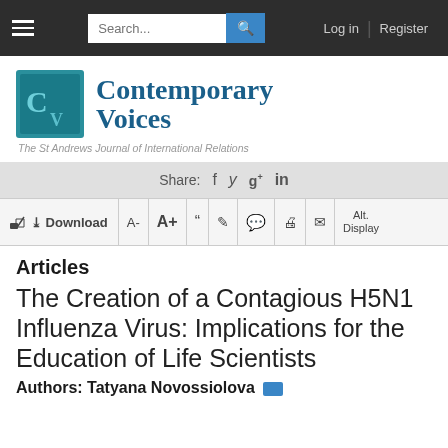Search... Log in Register
[Figure (logo): Contemporary Voices journal logo with CV icon and subtitle: The St Andrews Journal of International Relations]
Share: (social icons: Facebook, Twitter, Google+, LinkedIn)
Download  A-  A+  (quote) (edit) (comment) (print) (email)  Alt. Display
Articles
The Creation of a Contagious H5N1 Influenza Virus: Implications for the Education of Life Scientists
Authors: Tatyana Novossiolova